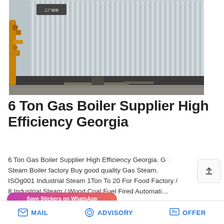[Figure (photo): Industrial facility photo showing corrugated metal/steel wall panels with yellow/orange pipes on the left side and a concrete floor. Text sign visible in upper left corner.]
6 Ton Gas Boiler Supplier High Efficiency Georgia
6 Ton Gas Boiler Supplier High Efficiency Georgia. Gas Steam Boiler factory Buy good quality Gas Steam. ISOg001 Industrial Steam 1Ton To 20 For Food Factory / 8 Industrial Steam / Wood Coal Fuel Fired Automati...
[Figure (screenshot): WhatsApp sticker saver promotional banner with pink/purple gradient background, labeled 'Save Stickers on WhatsApp' with green phone icon and pink emoji icon.]
MAIL   ADVISORY   OFFER